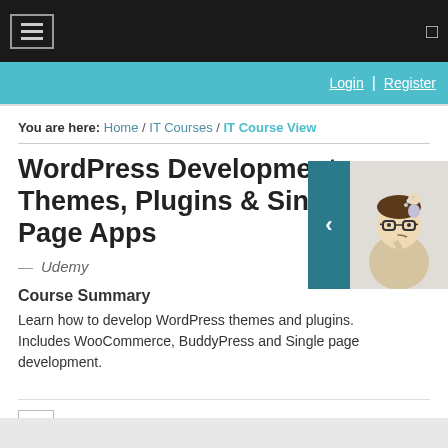Navigation bar with hamburger menu and icon
Login | Register
You are here: Home / IT Courses / IT Course View
WordPress Development - Themes, Plugins & Single Page Apps
— Udemy
Course Summary
Learn how to develop WordPress themes and plugins. Includes WooCommerce, BuddyPress and Single page development.
[Figure (illustration): Cartoon illustration of a person with glasses thinking, with a teal arrow panel on the left]
+ Course Description